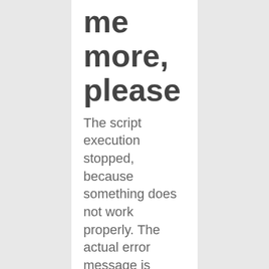me more, please
The script execution stopped, because something does not work properly. The actual error message is hidden by this notice for security reasons and can be found in